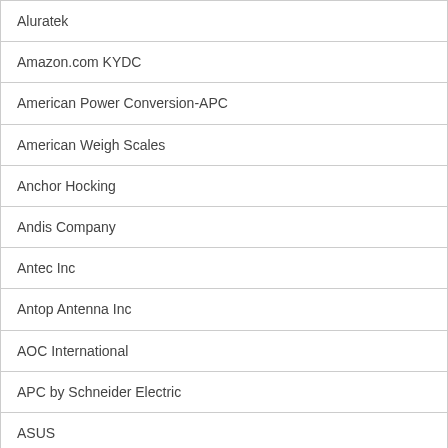| Aluratek |
| Amazon.com KYDC |
| American Power Conversion-APC |
| American Weigh Scales |
| Anchor Hocking |
| Andis Company |
| Antec Inc |
| Antop Antenna Inc |
| AOC International |
| APC by Schneider Electric |
| ASUS |
| ASUS Notebooks |
| Atdec |